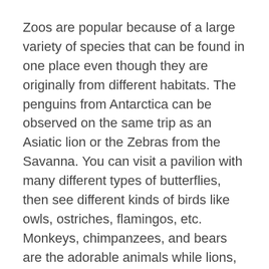Zoos are popular because of a large variety of species that can be found in one place even though they are originally from different habitats. The penguins from Antarctica can be observed on the same trip as an Asiatic lion or the Zebras from the Savanna. You can visit a pavilion with many different types of butterflies, then see different kinds of birds like owls, ostriches, flamingos, etc. Monkeys, chimpanzees, and bears are the adorable animals while lions, tigers, crocodiles, and other predators can be observed from a safe distance. Of course, Giraffes and elephants have special enclosures too, given their heights.
Some zoos also have aquatic animals like dolphins sea lions, turtles and a large variety of fish. A typical zoo would also have different reptiles like snakes, chameleons, iguanas, and even Komodo dragons